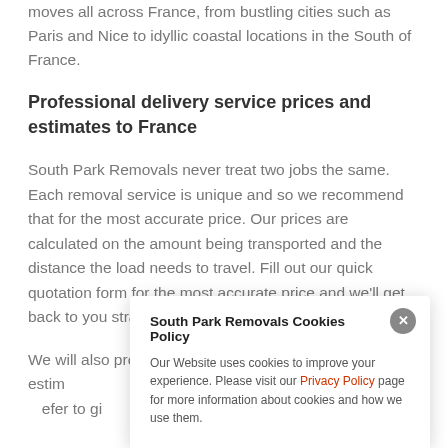moves all across France, from bustling cities such as Paris and Nice to idyllic coastal locations in the South of France.
Professional delivery service prices and estimates to France
South Park Removals never treat two jobs the same. Each removal service is unique and so we recommend that for the most accurate price. Our prices are calculated on the amount being transported and the distance the load needs to travel. Fill out our quick quotation form for the most accurate price and we'll get back to you straight away
We will also provide you with an accurate delivery time estim                                                                    your new h                                                                   efer to gi                                                                  e you w
South Park Removals Cookies Policy
Our Website uses cookies to improve your experience. Please visit our Privacy Policy page for more information about cookies and how we use them.